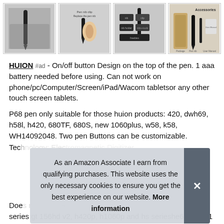[Figure (photo): Four product images of a HUION pen and accessories in a horizontal gallery strip]
HUION #ad - On/off button Design on the top of the pen. 1 aaa battery needed before using. Can not work on phone/pc/Computer/Screen/iPad/Wacom tabletsor any other touch screen tablets.
P68 pen only suitable for those huion products: 420, dwh69, h58l, h420, 680TF, 680S, new 1060plus, w58, k58, WH14092048. Two pen Buttons can be customizable. Tech...
As an Amazon Associate I earn from qualifying purchases. This website uses the only necessary cookies to ensure you get the best experience on our website. More information
Doe...
series gt 156hd v2, h420p, h1060p and hs serieshe64, hs611